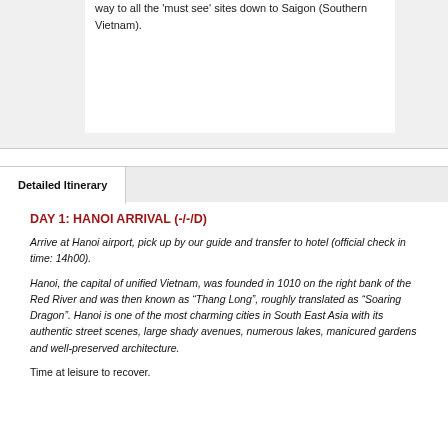way to all the 'must see' sites down to Saigon (Southern Vietnam).
Detailed Itinerary
DAY 1: HANOI ARRIVAL (-/-/D)
Arrive at Hanoi airport, pick up by our guide and transfer to hotel (official check in time: 14h00).
Hanoi, the capital of unified Vietnam, was founded in 1010 on the right bank of the Red River and was then known as “Thang Long”, roughly translated as “Soaring Dragon”. Hanoi is one of the most charming cities in South East Asia with its authentic street scenes, large shady avenues, numerous lakes, manicured gardens and well-preserved architecture.
Time at leisure to recover.